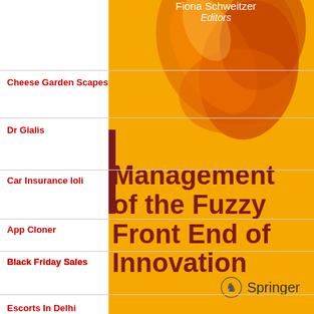[Figure (illustration): Book cover for 'Management of the Fuzzy Front End of Innovation' published by Springer. Yellow/golden background with abstract orange sculptural form in the upper right. Dark red title text. Springer logo at bottom right. White overlay on left side with spam link text overlaid. Editors name at top.]
Fiona Schweitzer
Editors
Cheese Garden Scapes
Dr Gialis
Car Insurance loli
Management of the Fuzzy Front End of Innovation
App Cloner
Black Friday Sales
Escorts In Delhi
Springer